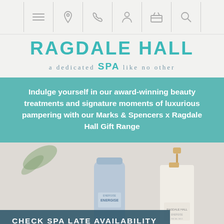Navigation bar with menu, location, phone, person, basket, and search icons
RAGDALE HALL SPA
a dedicated SPA like no other
Indulge yourself in our award-winning beauty treatments and signature moments of luxurious pampering with our Marks & Spencers x Ragdale Hall Gift Range
[Figure (photo): Spa beauty products on a light background — a blue tube labeled ENERGISE and a gold-capped pump bottle]
CHECK SPA LATE AVAILABILITY